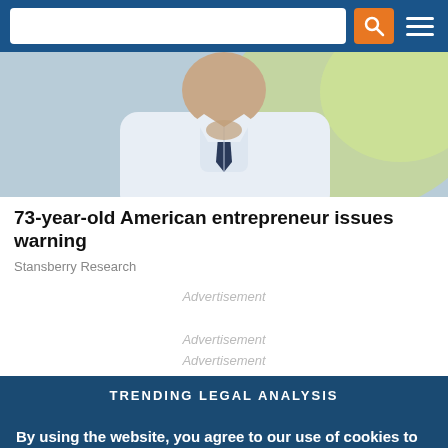[Figure (photo): A man in a white shirt with a dark tie, photographed from the torso up, looking downward, blurred green background.]
73-year-old American entrepreneur issues warning
Stansberry Research
Advertisement
Advertisement
Advertisement
TRENDING LEGAL ANALYSIS
By using the website, you agree to our use of cookies to analyze website traffic and improve your experience on our website. Learn more.